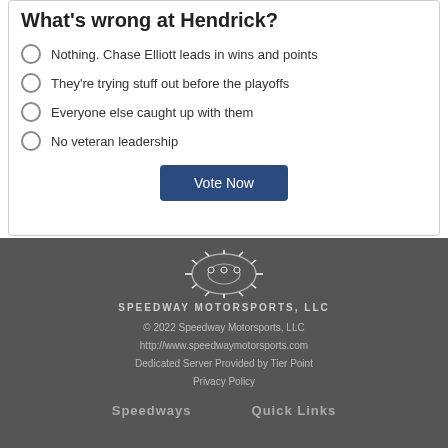What's wrong at Hendrick?
Nothing. Chase Elliott leads in wins and points
They're trying stuff out before the playoffs
Everyone else caught up with them
No veteran leadership
Vote Now
[Figure (logo): Speedway Motorsports LLC logo with radiating lines and text]
© 2022 Speedway Motorsports, LLC
http://www.speedwaymotorsports.com
Dedicated Server Provided by Tier Point
Privacy Policy
Speedways   Quick Links